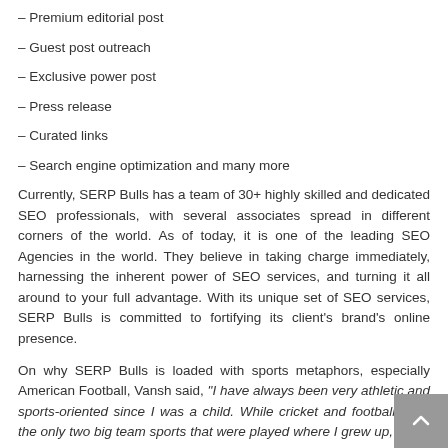– Premium editorial post
– Guest post outreach
– Exclusive power post
– Press release
– Curated links
– Search engine optimization and many more
Currently, SERP Bulls has a team of 30+ highly skilled and dedicated SEO professionals, with several associates spread in different corners of the world. As of today, it is one of the leading SEO Agencies in the world. They believe in taking charge immediately, harnessing the inherent power of SEO services, and turning it all around to your full advantage. With its unique set of SEO services, SERP Bulls is committed to fortifying its client's brand's online presence.
On why SERP Bulls is loaded with sports metaphors, especially American Football, Vansh said, "I have always been very athletic and sports-oriented since I was a child. While cricket and football were the only two big team sports that were played where I grew up, I took an immediate liking to American Football when I came across it while surfing channels one day.